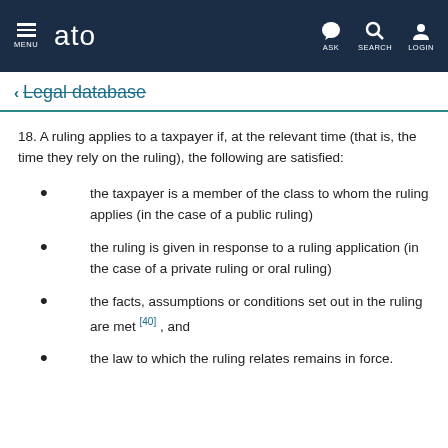MENU | ato | ASK | SEARCH | LOGIN
← Legal database
18. A ruling applies to a taxpayer if, at the relevant time (that is, the time they rely on the ruling), the following are satisfied:
the taxpayer is a member of the class to whom the ruling applies (in the case of a public ruling)
the ruling is given in response to a ruling application (in the case of a private ruling or oral ruling)
the facts, assumptions or conditions set out in the ruling are met [40] , and
the law to which the ruling relates remains in force.